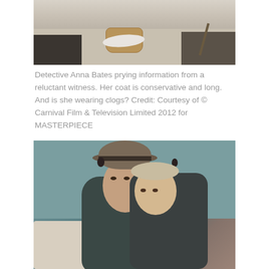[Figure (photo): Partial top image showing Detective Anna Bates with a reluctant witness. A floor scene with a wicker basket and white cloth visible.]
Detective Anna Bates prying information from a reluctant witness. Her coat is conservative and long. And is she wearing clogs? Credit: Courtesy of © Carnival Film & Television Limited 2012 for MASTERPIECE
[Figure (photo): A woman wearing a brown bowler hat holding a young blonde child. Both are looking upward. The woman wears a dark sweater. Background is teal/blue-green wall with a light-colored couch.]